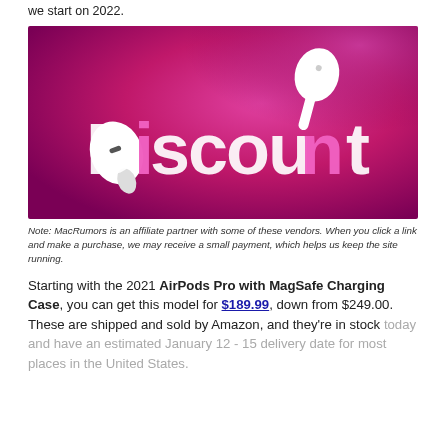we start on 2022.
[Figure (illustration): Promotional image with magenta/purple gradient background showing white AirPods and AirPods Pro earbuds, with large white and pink text reading 'Discount']
Note: MacRumors is an affiliate partner with some of these vendors. When you click a link and make a purchase, we may receive a small payment, which helps us keep the site running.
Starting with the 2021 AirPods Pro with MagSafe Charging Case, you can get this model for $189.99, down from $249.00. These are shipped and sold by Amazon, and they're in stock today and have an estimated January 12 - 15 delivery date for most places in the United States.